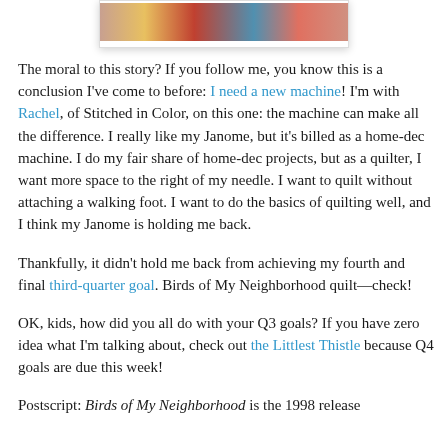[Figure (photo): Partial image of a colorful quilt with red, blue, yellow fabrics visible at the top of the page]
The moral to this story? If you follow me, you know this is a conclusion I've come to before: I need a new machine! I'm with Rachel, of Stitched in Color, on this one: the machine can make all the difference. I really like my Janome, but it's billed as a home-dec machine. I do my fair share of home-dec projects, but as a quilter, I want more space to the right of my needle. I want to quilt without attaching a walking foot. I want to do the basics of quilting well, and I think my Janome is holding me back.
Thankfully, it didn't hold me back from achieving my fourth and final third-quarter goal. Birds of My Neighborhood quilt—check!
OK, kids, how did you all do with your Q3 goals? If you have zero idea what I'm talking about, check out the Littlest Thistle because Q4 goals are due this week!
Postscript: Birds of My Neighborhood is the 1998 release